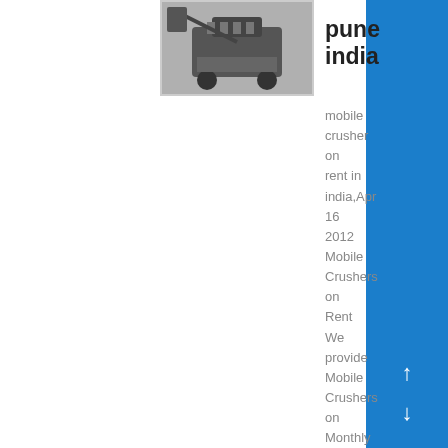[Figure (photo): Thumbnail image of a mobile crusher machine]
pune india
mobile crusher on rent in india,Apr 16 2012 Mobile Crushers on Rent We provide Mobile Crushers on Monthly Rental Basis for crushing in India We provide efficient mobile crusher of capacity 50TPH to 200TPH We mobile crushers or rent and also crushing services on contract basis The mobile crushers are utilized to produce GSB and Aggregates get price....
Know More
[Figure (photo): Thumbnail image of a worker in hard hat and safety gear operating concrete crushing equipment]
concrete crushing equipment rental in pune
concrete crushing equipment rental in pune Jan 19 2019 Zithromax azithromycin is an antibiotic that fights bacteria Zithromax is used to treat many different types of infections caused by bacteria